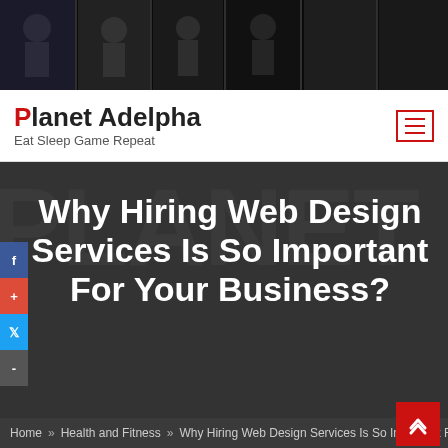[Figure (photo): Horizontal strip of video game character screenshots/artwork in dark tones]
Planet Adelpha — Eat Sleep Game Repeat
Why Hiring Web Design Services Is So Important For Your Business?
Home » Health and Fitness » Why Hiring Web Design Services Is So Important For